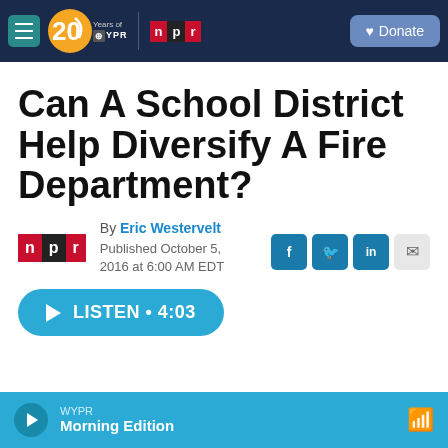WYPR 20 Years | NPR | Donate
Can A School District Help Diversify A Fire Department?
By Eric Westervelt
Published October 5, 2016 at 6:00 AM EDT
LISTEN • 4:03
WYPR Morning Edition